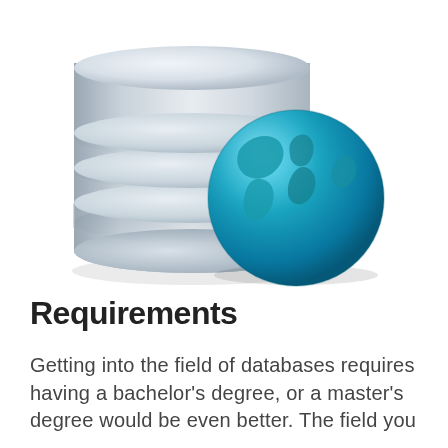[Figure (illustration): Illustration of a silver cylindrical database stack with a teal/blue globe positioned overlapping it at the front-right, representing a database with internet/world connectivity.]
Requirements
Getting into the field of databases requires having a bachelor's degree, or a master's degree would be even better. The field you